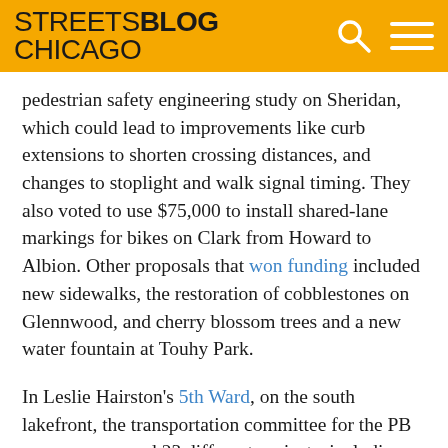STREETSBLOG CHICAGO
pedestrian safety engineering study on Sheridan, which could lead to improvements like curb extensions to shorten crossing distances, and changes to stoplight and walk signal timing. They also voted to use $75,000 to install shared-lane markings for bikes on Clark from Howard to Albion. Other proposals that won funding included new sidewalks, the restoration of cobblestones on Glennwood, and cherry blossom trees and a new water fountain at Touhy Park.
In Leslie Hairston's 5th Ward, on the south lakefront, the transportation committee for the PB process proposed 23 different projects, including many nontraditional ideas for promoting biking and transit use. However, unlike the other three aldermen,